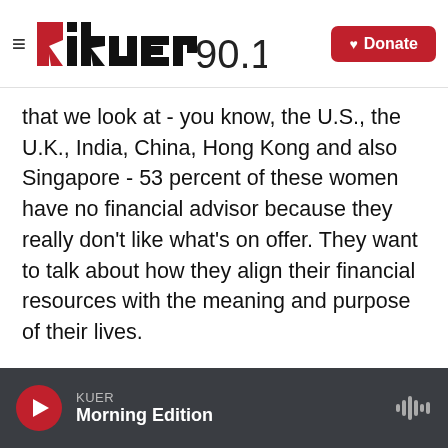KUER 90.1
that we look at - you know, the U.S., the U.K., India, China, Hong Kong and also Singapore - 53 percent of these women have no financial advisor because they really don't like what's on offer. They want to talk about how they align their financial resources with the meaning and purpose of their lives.
One of the most amazing interviews in this study is with a young woman called Fiona Kushek (ph) - one of these, you know, biometric entrepreneurs. She started a company when she was 32. She just sold it for 21 million
KUER
Morning Edition